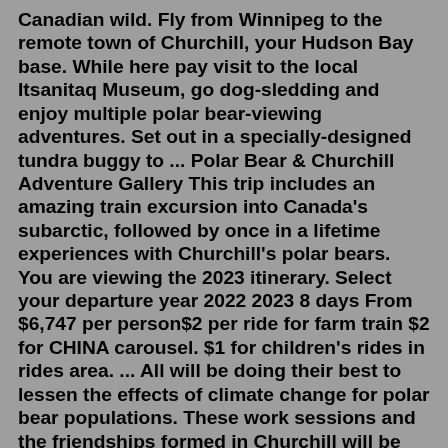Canadian wild. Fly from Winnipeg to the remote town of Churchill, your Hudson Bay base. While here pay visit to the local Itsanitaq Museum, go dog-sledding and enjoy multiple polar bear-viewing adventures. Set out in a specially-designed tundra buggy to ... Polar Bear & Churchill Adventure Gallery This trip includes an amazing train excursion into Canada's subarctic, followed by once in a lifetime experiences with Churchill's polar bears. You are viewing the 2023 itinerary. Select your departure year 2022 2023 8 days From $6,747 per person$2 per ride for farm train $2 for CHINA carousel. $1 for children's rides in rides area. ... All will be doing their best to lessen the effects of climate change for polar bear populations. These work sessions and the friendships formed in Churchill will be ones that are not forgotten.6 Day Canada Tour to Winnipeg, and Churchill. Buckle up for Manitoba and Winnipeg where you'll discover the home of the polar bears and the indigenous Inuit and Metis people who share their